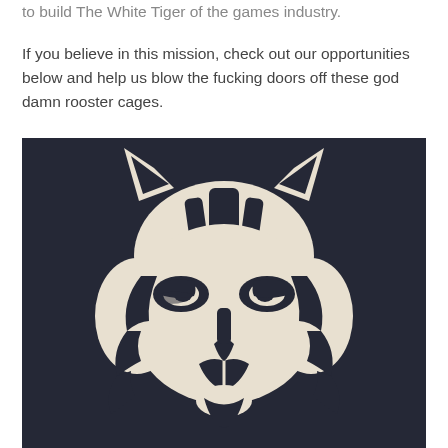to build The White Tiger of the games industry.
If you believe in this mission, check out our opportunities below and help us blow the fucking doors off these god damn rooster cages.
[Figure (logo): White tiger face logo on dark navy/charcoal background. Stylized flat design of a tiger's face with cream/off-white coloring and dark stripe markings.]